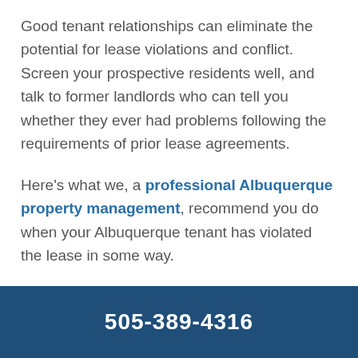Good tenant relationships can eliminate the potential for lease violations and conflict. Screen your prospective residents well, and talk to former landlords who can tell you whether they ever had problems following the requirements of prior lease agreements.
Here's what we, a professional Albuquerque property management, recommend you do when your Albuquerque tenant has violated the lease in some way.
Communicate with Your Tenant
505-389-4316